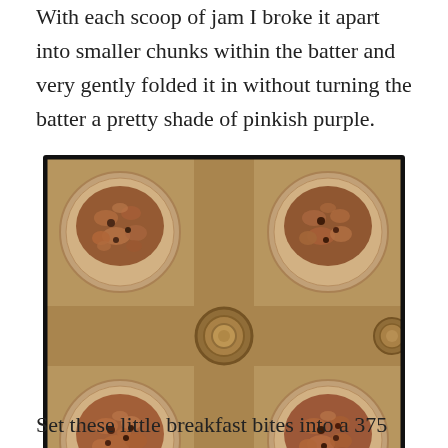With each scoop of jam I broke it apart into smaller chunks within the batter and very gently folded it in without turning the batter a pretty shade of pinkish purple.
[Figure (photo): Overhead photo of a muffin tin with muffin batter in paper liners, showing the tops of several muffins with a crumbly streusel-like topping. The tin has a golden/brown metallic finish. The image has a warm, slightly filtered vintage look.]
Set these little breakfast bites into a 375 degree oven for 16 minutes.
The batter makes 18 muffins, so you might want to invite people over at